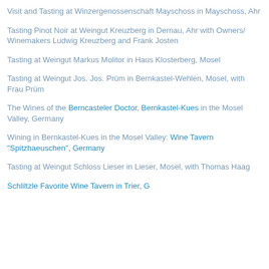Visit and Tasting at Winzergenossenschaft Mayschoss in Mayschoss, Ahr
Tasting Pinot Noir at Weingut Kreuzberg in Dernau, Ahr with Owners/ Winemakers Ludwig Kreuzberg and Frank Josten
Tasting at Weingut Markus Molitor in Haus Klosterberg, Mosel
Tasting at Weingut Jos. Jos. Prüm in Bernkastel-Wehlen, Mosel, with Frau Prüm
The Wines of the Berncasteler Doctor, Bernkastel-Kues in the Mosel Valley, Germany
Wining in Bernkastel-Kues in the Mosel Valley: Wine Tavern "Spitzhaeuschen", Germany
Tasting at Weingut Schloss Lieser in Lieser, Mosel, with Thomas Haag
Schlitzler Favorite Wine Tavern in Trier, Germany